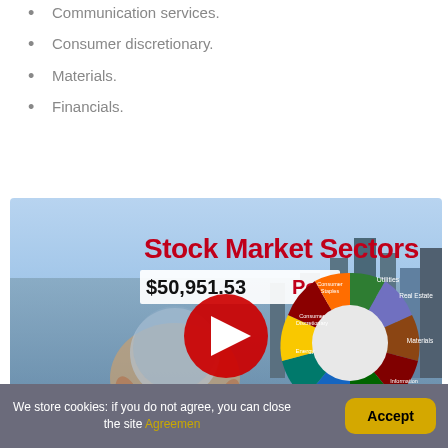Consumer staples.
Communication services.
Consumer discretionary.
Materials.
Financials.
[Figure (screenshot): YouTube video thumbnail titled 'Stock Market Sectors' showing a $50,951.53 Portfolio text, a donut chart of stock market sectors (Consumer Staples, Energy, Financials, Health Care, Information Technology, Materials, Real Estate, Utilities, etc.), and a hand holding a crystal ball reflecting a city skyline. A red YouTube play button is centered on the image.]
We store cookies: if you do not agree, you can close the site Agreemen